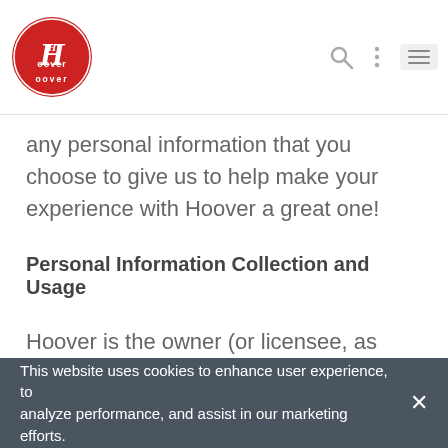Hoover [logo] [search icon] [menu icons]
any personal information that you choose to give us to help make your experience with Hoover a great one!
Personal Information Collection and Usage
Hoover is the owner (or licensee, as applicable) of the information we collect on this site. We will not sell, share or rent this information to others in any way except as disclosed in this Privacy Policy and Terms of Use. When you provide us with personal information such as your name, street address, email address, phone number, etc., we use this
This website uses cookies to enhance user experience, to analyze performance, and assist in our marketing efforts.